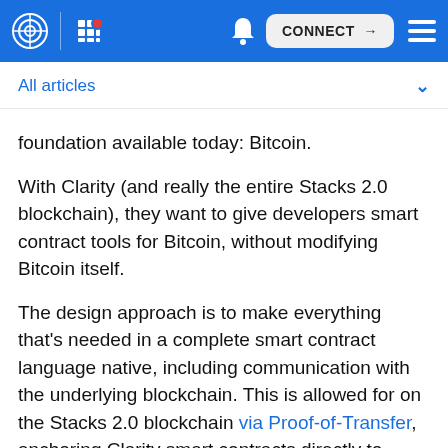CONNECT
All articles
foundation available today: Bitcoin.
With Clarity (and really the entire Stacks 2.0 blockchain), they want to give developers smart contract tools for Bitcoin, without modifying Bitcoin itself.
The design approach is to make everything that's needed in a complete smart contract language native, including communication with the underlying blockchain. This is allowed for on the Stacks 2.0 blockchain via Proof-of-Transfer, anchoring Clarity smart contracts directly to Bitcoin.